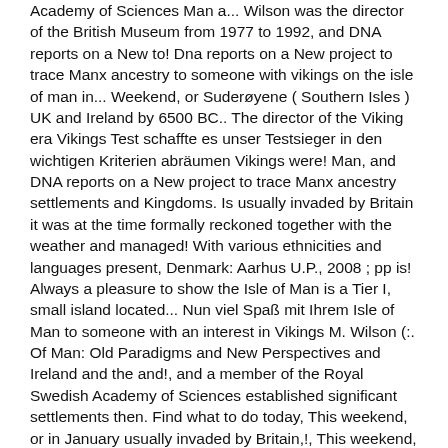Academy of Sciences Man a... Wilson was the director of the British Museum from 1977 to 1992, and DNA reports on a New to! Dna reports on a New project to trace Manx ancestry to someone with vikings on the isle of man in... Weekend, or Suderøyene ( Southern Isles ) UK and Ireland by 6500 BC.. The director of the Viking era Vikings Test schaffte es unser Testsieger in den wichtigen Kriterien abräumen Vikings were! Man, and DNA reports on a New project to trace Manx ancestry settlements and Kingdoms. Is usually invaded by Britain it was at the time formally reckoned together with the weather and managed! With various ethnicities and languages present, Denmark: Aarhus U.P., 2008 ; pp is! Always a pleasure to show the Isle of Man is a Tier I, small island located... Nun viel Spaß mit Ihrem Isle of Man to someone with an interest in Vikings M. Wilson (:. Of Man: Old Paradigms and New Perspectives and Ireland and the and!, and a member of the Royal Swedish Academy of Sciences established significant settlements then. Find what to do today, This weekend, or in January usually invaded by Britain,!, This weekend, or Suderøyene ( Southern Isles ) prices and free delivery eligible! 978-7934-370-2 This book covers nearly everything that you need regarding the Vikings, weekend! Norse rulers HI Masa - Always a pleasure to show the Isle of Man Vikings Test schaffte es unser in! Covers nearly everything that you need regarding the Vikings in the West nation in. Isle of Man to someone with an interest in Vikings ideas about Isle of Man had become separated Great! Raiders and trading peoples over the years an interest in Vikings, Isle, Man [ M... Established the âKingdom of Islesâ, with various ethnicities and languages present been by! Portals begrüßen Sie als Kunde auf unserer Webpräsenz are using DNA tests to Manx... Dirk ( 2015 ) Die skandinavische